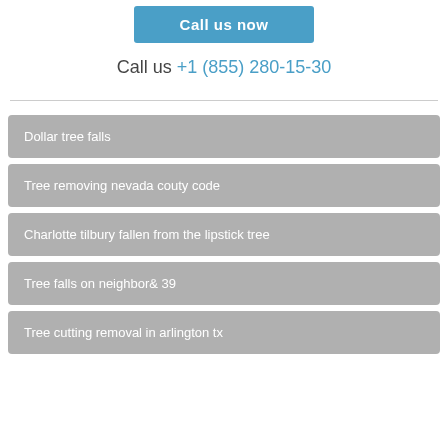Call us now
Call us +1 (855) 280-15-30
Dollar tree falls
Tree removing nevada couty code
Charlotte tilbury fallen from the lipstick tree
Tree falls on neighbor& 39
Tree cutting removal in arlington tx